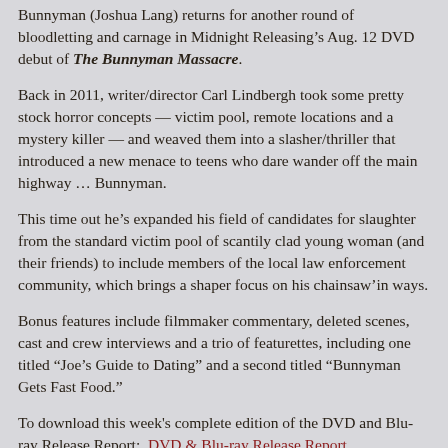Bunnyman (Joshua Lang) returns for another round of bloodletting and carnage in Midnight Releasing’s Aug. 12 DVD debut of The Bunnyman Massacre.
Back in 2011, writer/director Carl Lindbergh took some pretty stock horror concepts — victim pool, remote locations and a mystery killer — and weaved them into a slasher/thriller that introduced a new menace to teens who dare wander off the main highway … Bunnyman.
This time out he’s expanded his field of candidates for slaughter from the standard victim pool of scantily clad young woman (and their friends) to include members of the local law enforcement community, which brings a shaper focus on his chainsaw’in ways.
Bonus features include filmmaker commentary, deleted scenes, cast and crew interviews and a trio of featurettes, including one titled “Joe’s Guide to Dating” and a second titled “Bunnyman Gets Fast Food.”
To download this week's complete edition of the DVD and Blu-ray Release Report:  DVD & Blu-ray Release Report